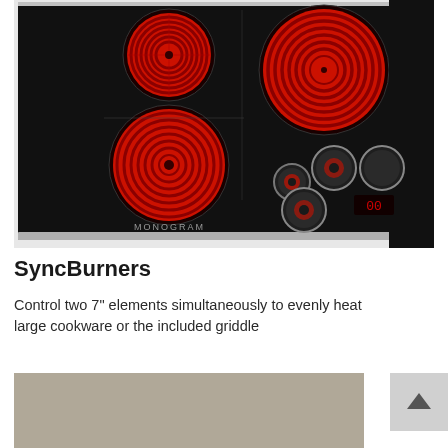[Figure (photo): Monogram electric cooktop with four glowing red radiant burner elements on a black glass surface, with knob controls visible in the lower right corner. Monogram brand name printed on the surface.]
SyncBurners
Control two 7" elements simultaneously to evenly heat large cookware or the included griddle
[Figure (photo): Partial view of a stainless steel or silver-toned griddle plate surface.]